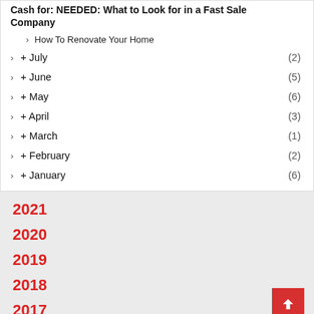Cash for: NEEDED: What to Look for in a Fast Sale Company
How To Renovate Your Home
+ July (2)
+ June (5)
+ May (6)
+ April (3)
+ March (1)
+ February (2)
+ January (6)
2021
2020
2019
2018
2017
2016